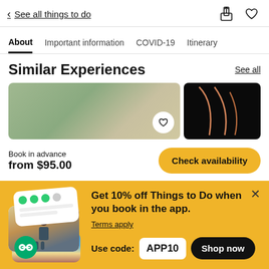< See all things to do
About | Important information | COVID-19 | Itinerary
Similar Experiences
[Figure (photo): Travel experience photos: person lying outdoors (nature scene) and dark background with orange curved lines]
Book in advance
from $95.00
Check availability
[Figure (infographic): App promotion banner with stacked cards showing ratings, hiker, TripAdvisor badge, and beach scene]
Get 10% off Things to Do when you book in the app.
Terms apply
Use code: APP10
Shop now